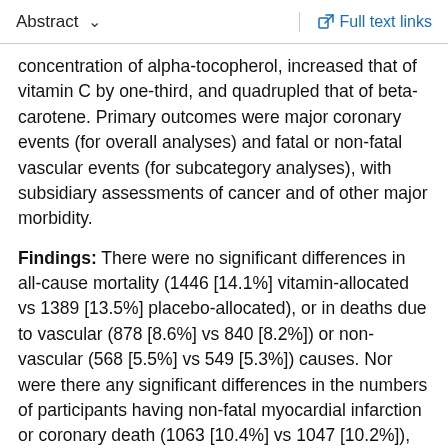Abstract  Full text links
concentration of alpha-tocopherol, increased that of vitamin C by one-third, and quadrupled that of beta-carotene. Primary outcomes were major coronary events (for overall analyses) and fatal or non-fatal vascular events (for subcategory analyses), with subsidiary assessments of cancer and of other major morbidity.
Findings: There were no significant differences in all-cause mortality (1446 [14.1%] vitamin-allocated vs 1389 [13.5%] placebo-allocated), or in deaths due to vascular (878 [8.6%] vs 840 [8.2%]) or non-vascular (568 [5.5%] vs 549 [5.3%]) causes. Nor were there any significant differences in the numbers of participants having non-fatal myocardial infarction or coronary death (1063 [10.4%] vs 1047 [10.2%]), non-fatal or fatal stroke (511 [5.0%] vs 518 [5.0%]), or coronary or non-coronary revascularisation (1058 [10.3%] vs 1086 [10.6%]). For the first occurrence of any of these "major vascular